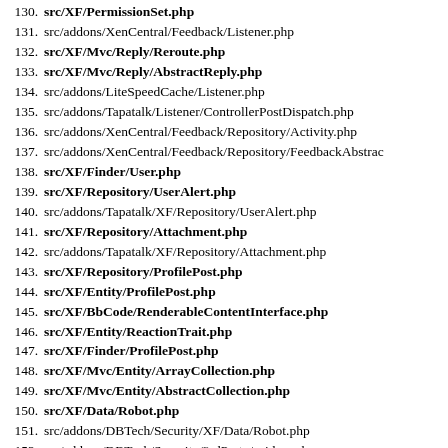130. src/XF/PermissionSet.php
131. src/addons/XenCentral/Feedback/Listener.php
132. src/XF/Mvc/Reply/Reroute.php
133. src/XF/Mvc/Reply/AbstractReply.php
134. src/addons/LiteSpeedCache/Listener.php
135. src/addons/Tapatalk/Listener/ControllerPostDispatch.php
136. src/addons/XenCentral/Feedback/Repository/Activity.php
137. src/addons/XenCentral/Feedback/Repository/FeedbackAbstrac
138. src/XF/Finder/User.php
139. src/XF/Repository/UserAlert.php
140. src/addons/Tapatalk/XF/Repository/UserAlert.php
141. src/XF/Repository/Attachment.php
142. src/addons/Tapatalk/XF/Repository/Attachment.php
143. src/XF/Repository/ProfilePost.php
144. src/XF/Entity/ProfilePost.php
145. src/XF/BbCode/RenderableContentInterface.php
146. src/XF/Entity/ReactionTrait.php
147. src/XF/Finder/ProfilePost.php
148. src/XF/Mvc/Entity/ArrayCollection.php
149. src/XF/Mvc/Entity/AbstractCollection.php
150. src/XF/Data/Robot.php
151. src/addons/DBTech/Security/XF/Data/Robot.php
152. src/addons/DBTech/Security/3rdParty/spiders.php
153. src/XF/Entity/ProfilePostComment.php
154. src/XF/Finder/ProfilePostComment.php
155. src/XF/Repository/Unfurl.php